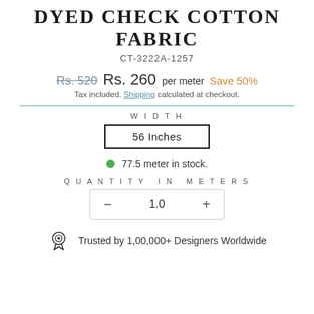DYED CHECK COTTON FABRIC
CT-3222A-1257
Rs. 520  Rs. 260  per meter  Save 50%
Tax included. Shipping calculated at checkout.
WIDTH
56 Inches
77.5 meter in stock.
QUANTITY IN METERS
1.0
Trusted by 1,00,000+ Designers Worldwide